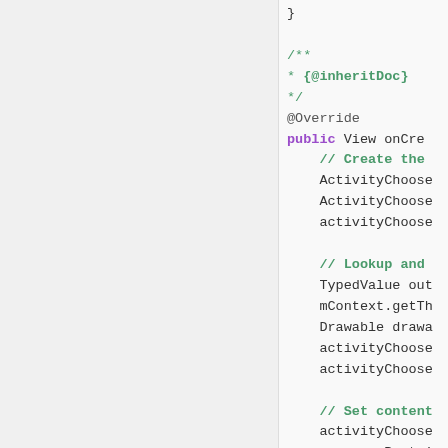[Figure (screenshot): Code editor screenshot showing Java source code with syntax highlighting. Left panel is blank/empty (light gray). Right panel shows code including closing brace, Javadoc comment with @inheritDoc, @Override annotation, public View onCreate method, comments and code lines for ActivityChooser and TypedValue/Drawable initialization.]